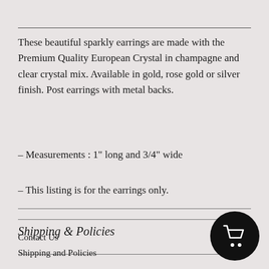These beautiful sparkly earrings are made with the Premium Quality European Crystal in champagne and clear crystal mix. Available in gold, rose gold or silver finish. Post earrings with metal backs.
- Measurements : 1" long and 3/4" wide
- This listing is for the earrings only.
Shipping & Policies
Contact Us
Shipping and Policies